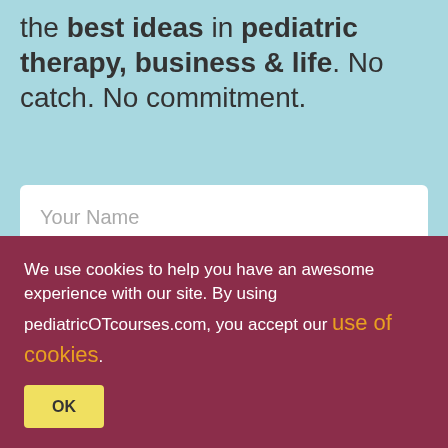the best ideas in pediatric therapy, business & life. No catch. No commitment.
Your Name
Your Email
GET NEW IDEAS!
We use cookies to help you have an awesome experience with our site. By using pediatricOTcourses.com, you accept our use of cookies.
OK